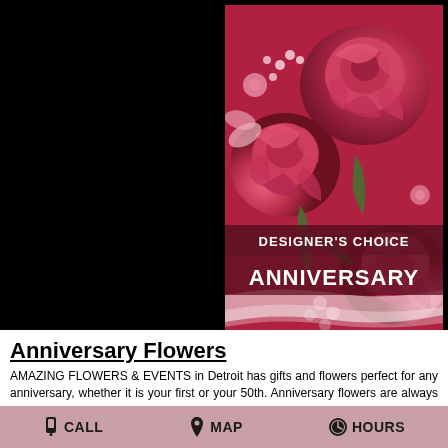[Figure (photo): A bouquet of bright pink/red roses and flowers with a banner overlay reading 'DESIGNER'S CHOICE ANNIVERSARY']
Anniversary Flowers
AMAZING FLOWERS & EVENTS in Detroit has gifts and flowers perfect for any anniversary, whether it is your first or your 50th. Anniversary flowers are always a great way to remind that special someone how much you care. Does your significant other seem to
CALL   MAP   HOURS